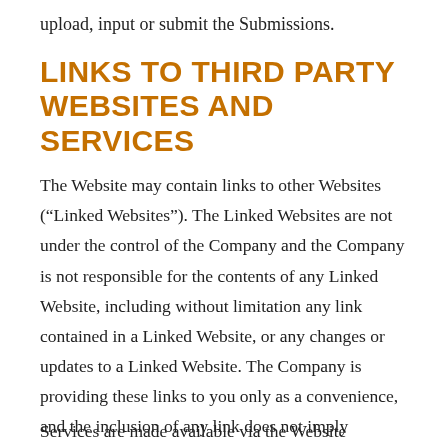upload, input or submit the Submissions.
LINKS TO THIRD PARTY WEBSITES AND SERVICES
The Website may contain links to other Websites (“Linked Websites”). The Linked Websites are not under the control of the Company and the Company is not responsible for the contents of any Linked Website, including without limitation any link contained in a Linked Website, or any changes or updates to a Linked Website. The Company is providing these links to you only as a convenience, and the inclusion of any link does not imply endorsement by the Company of the Website or any association with its operators.
Services are made available via the Website...